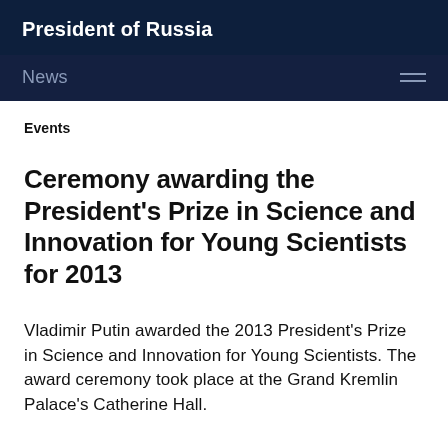President of Russia
News
Events
Ceremony awarding the President's Prize in Science and Innovation for Young Scientists for 2013
Vladimir Putin awarded the 2013 President's Prize in Science and Innovation for Young Scientists. The award ceremony took place at the Grand Kremlin Palace's Catherine Hall.